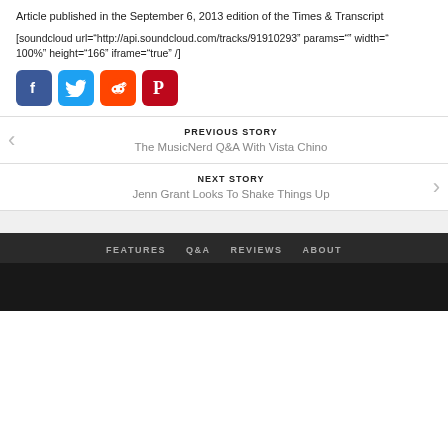Article published in the September 6, 2013 edition of the Times & Transcript
[soundcloud url="http://api.soundcloud.com/tracks/91910293" params="" width="100%" height="166" iframe="true" /]
[Figure (other): Social sharing icons: Facebook (blue), Twitter (light blue), Reddit (orange), Pinterest (red)]
PREVIOUS STORY
The MusicNerd Q&A With Vista Chino
NEXT STORY
Jenn Grant Looks To Shake Things Up
FEATURES   Q&A   REVIEWS   ABOUT